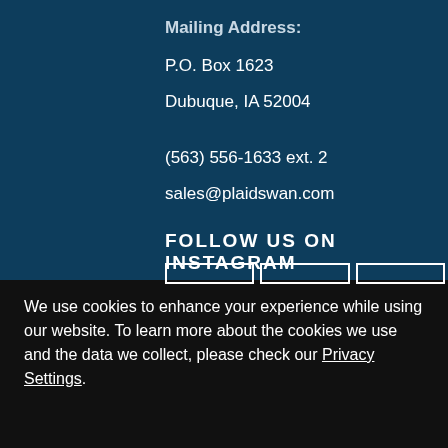Mailing Address:
P.O. Box 1623
Dubuque, IA 52004
(563) 556-1633 ext. 2
sales@plaidswan.com
FOLLOW US ON INSTAGRAM
[Figure (other): Three Instagram image thumbnail placeholder boxes shown partially]
We use cookies to enhance your experience while using our website. To learn more about the cookies we use and the data we collect, please check our Privacy Settings.
I Accept